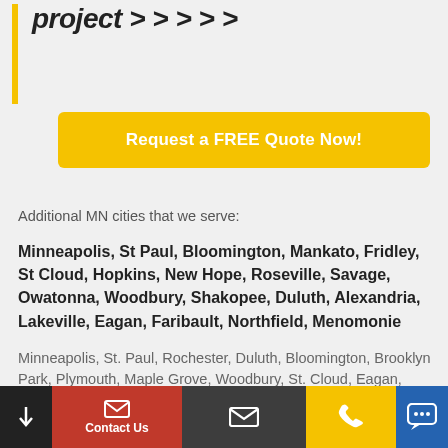project > > > > >
Request a FREE Quote Now!
Additional MN cities that we serve:
Minneapolis, St Paul, Bloomington, Mankato, Fridley, St Cloud, Hopkins, New Hope, Roseville, Savage, Owatonna, Woodbury, Shakopee, Duluth, Alexandria, Lakeville, Eagan, Faribault, Northfield, Menomonie
Minneapolis, St. Paul, Rochester, Duluth, Bloomington, Brooklyn Park, Plymouth, Maple Grove, Woodbury, St. Cloud, Eagan, Eden Prairie, Blaine, Lakeville, Coon Rapids, Burnsville, Minnetonka, Apple Valley, Edina, St. Louis Park, Moorhead,
↓  Contact Us  ✉  📞  SMS